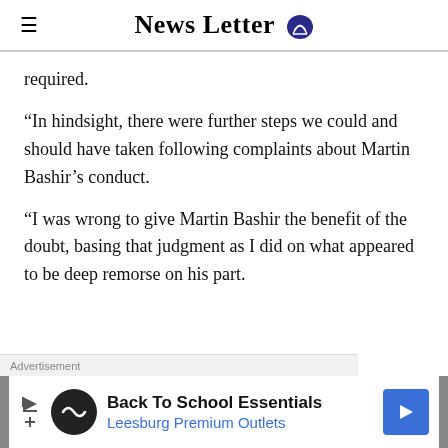News Letter
required.
“In hindsight, there were further steps we could and should have taken following complaints about Martin Bashir’s conduct.
“I was wrong to give Martin Bashir the benefit of the doubt, basing that judgment as I did on what appeared to be deep remorse on his part.
[Figure (other): Advertisement banner: Back To School Essentials - Leesburg Premium Outlets]